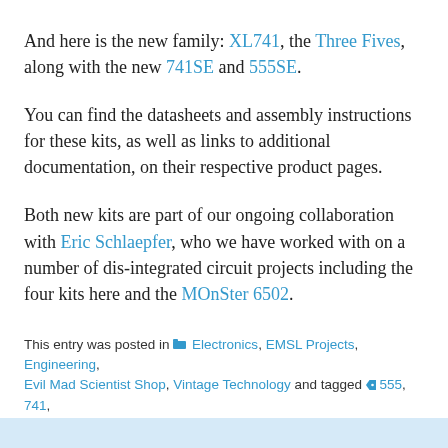And here is the new family: XL741, the Three Fives, along with the new 741SE and 555SE.
You can find the datasheets and assembly instructions for these kits, as well as links to additional documentation, on their respective product pages.
Both new kits are part of our ongoing collaboration with Eric Schlaepfer, who we have worked with on a number of dis-integrated circuit projects including the four kits here and the MOnSter 6502.
This entry was posted in Electronics, EMSL Projects, Engineering, Evil Mad Scientist Shop, Vintage Technology and tagged 555, 741, electronics, kits, soldering. Bookmark the Permalink.